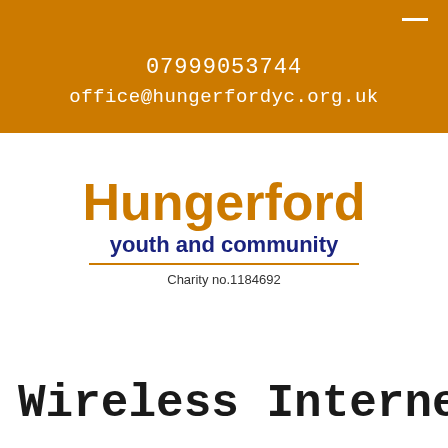07999053744
office@hungerfordyc.org.uk
Hungerford youth and community
Charity no.1184692
Wireless Internet